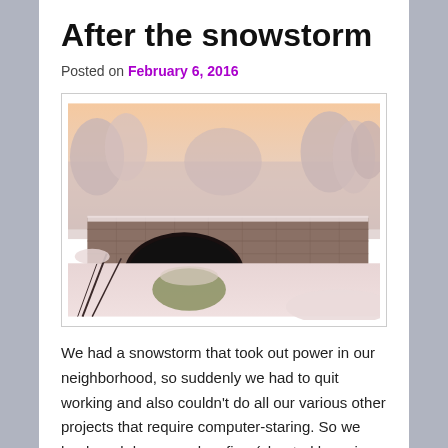After the snowstorm
Posted on February 6, 2016
[Figure (photo): A snowy winter scene showing a stone arch bridge covered in snow, with snow-laden trees in the background and a warm pink/orange sky. Snow fills the foreground.]
We had a snowstorm that took out power in our neighborhood, so suddenly we had to quit working and also couldn't do all our various other projects that require computer-staring. So we hunkered down, made a fire, (cheated by going out for dinner)…. but after the storm